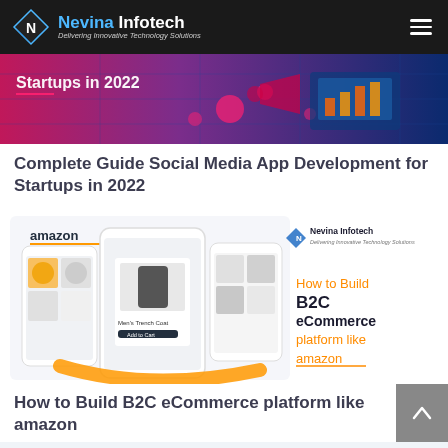Nevina Infotech — Delivering Innovative Technology Solutions
[Figure (illustration): Hero banner image for blog post about Social Media App Development for Startups in 2022, with text 'Startups in 2022' and isometric tech/marketing graphics on purple-blue gradient background]
Complete Guide Social Media App Development for Startups in 2022
[Figure (illustration): Promotional card image for 'How to Build B2C eCommerce platform like amazon' featuring Amazon app UI screenshots on mobile devices, orange Amazon arrow, Nevina Infotech logo, and orange text overlay]
How to Build B2C eCommerce platform like amazon